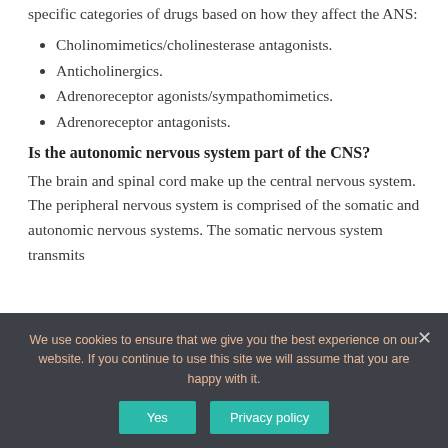specific categories of drugs based on how they affect the ANS:
Cholinomimetics/cholinesterase antagonists.
Anticholinergics.
Adrenoreceptor agonists/sympathomimetics.
Adrenoreceptor antagonists.
Is the autonomic nervous system part of the CNS?
The brain and spinal cord make up the central nervous system. The peripheral nervous system is comprised of the somatic and autonomic nervous systems. The somatic nervous system transmits
We use cookies to ensure that we give you the best experience on our website. If you continue to use this site we will assume that you are happy with it.